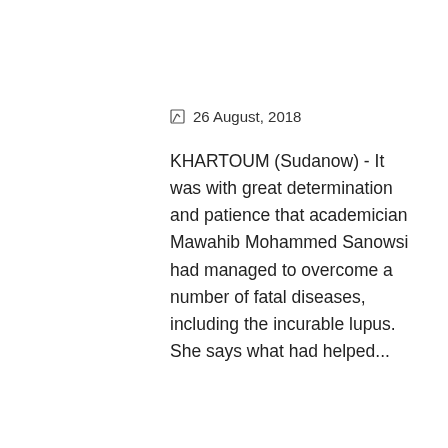26 August, 2018
KHARTOUM (Sudanow) - It was with great determination and patience that academician Mawahib Mohammed Sanowsi had managed to overcome a number of fatal diseases, including the incurable lupus. She says what had helped...
[Figure (other): Blue rectangle button placeholder with blue border]
[Figure (photo): A man in a dark suit seated at a desk, with colorful flags in the background]